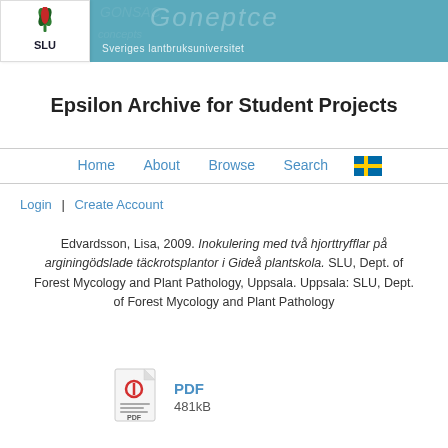[Figure (logo): SLU logo with stylized plant/flower icon above the text SLU, in green and dark red, on white background]
Epsilon Archive for Student Projects
Home   About   Browse   Search
Login | Create Account
Edvardsson, Lisa, 2009. Inokulering med två hjorttryfflar på arginingödslade täckrotsplantor i Gideå plantskola. SLU, Dept. of Forest Mycology and Plant Pathology, Uppsala. Uppsala: SLU, Dept. of Forest Mycology and Plant Pathology
[Figure (other): PDF file icon with red circle and horizontal lines below, labeled PDF]